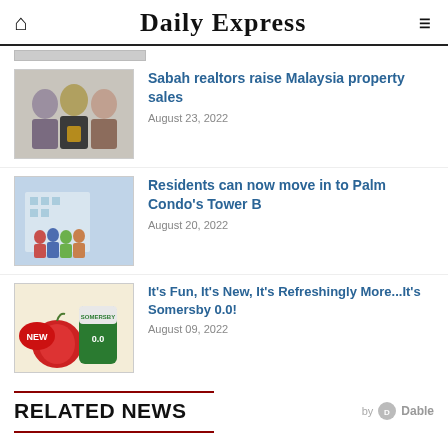Daily Express
[Figure (photo): Thumbnail of three people posing with award trophy]
Sabah realtors raise Malaysia property sales
August 23, 2022
[Figure (photo): Thumbnail of group of people standing in front of building/condo]
Residents can now move in to Palm Condo's Tower B
August 20, 2022
[Figure (photo): Thumbnail of Somersby 0.0 apple cider can with NEW badge and apple]
It's Fun, It's New, It's Refreshingly More...It's Somersby 0.0!
August 09, 2022
RELATED NEWS